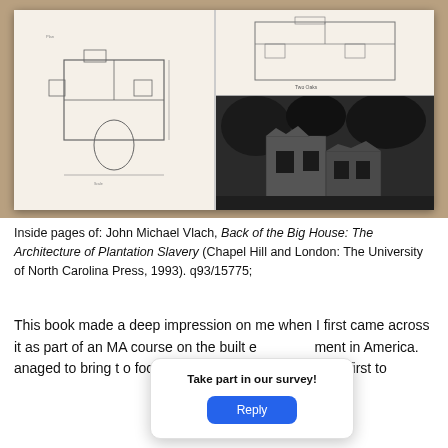[Figure (photo): Photograph of an open book showing two pages: the left page contains architectural floor plan drawings of plantation buildings, and the right page contains another floor plan at the top and a black-and-white photograph of a ruined brick building at the bottom. The book is resting open on a wooden surface.]
Inside pages of: John Michael Vlach, Back of the Big House: The Architecture of Plantation Slavery (Chapel Hill and London: The University of North Carolina Press, 1993). q93/15775;
This book made a deep impression on me when I first came across it as part of an MA course on the built e[nviron]ment in America. [Vlach man]aged to bring t[his important subject int]o focus through t[he buildings themselves] . As he says him[self, he was one of th]e first to